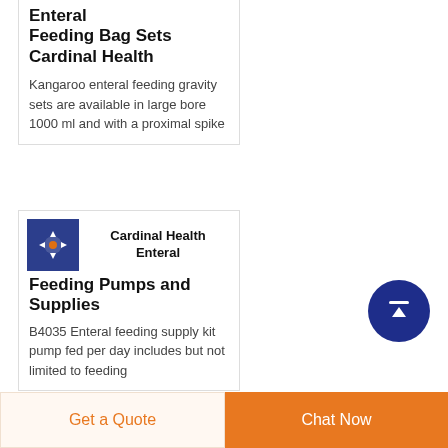Enteral Feeding Bag Sets Cardinal Health
Kangaroo enteral feeding gravity sets are available in large bore 1000 ml and with a proximal spike
[Figure (logo): Cardinal Health logo: blue square background with a white cross-like medical symbol]
Cardinal Health Enteral Feeding Pumps and Supplies
B4035 Enteral feeding supply kit pump fed per day includes but not limited to feeding
[Figure (infographic): Dark blue circular scroll-to-top button with white upward arrow]